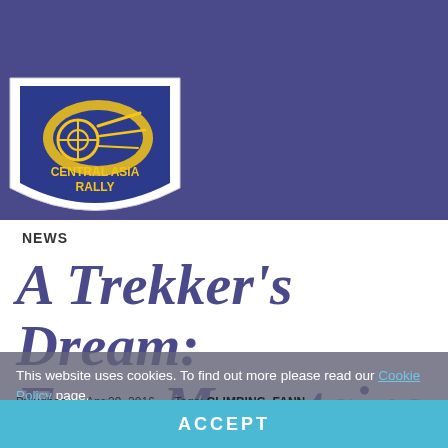[Figure (logo): Central Asia Rally logo — blue shield shape with yellow rally car motif and text 'CENTRAL ASIA RALLY']
llery   Apply!   Blog
NEWS
A Trekker's Dream: Fann Mountains in Tajikistan
This website uses cookies. To find out more please read our Cookie Policy page.
By ughoo   Apr 29, 2016   Tags: CLIMBING, FANN MOUNTAINS, FANNS, MOUNTAINS LAKES, TAJIKISTAN LAKES
ACCEPT